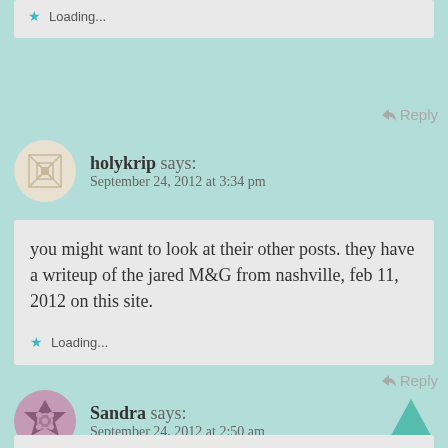Loading...
Reply
holykrip says: September 24, 2012 at 3:34 pm
you might want to look at their other posts. they have a writeup of the jared M&G from nashville, feb 11, 2012 on this site.
Loading...
Reply
Sandra says: September 24, 2012 at 2:50 am